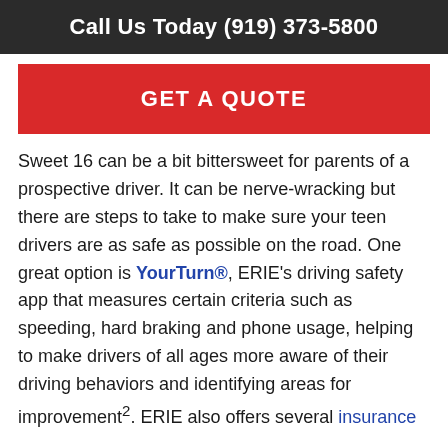Call Us Today (919) 373-5800
[Figure (other): Red GET A QUOTE button banner]
Sweet 16 can be a bit bittersweet for parents of a prospective driver. It can be nerve-wracking but there are steps to take to make sure your teen drivers are as safe as possible on the road. One great option is YourTurn®, ERIE's driving safety app that measures certain criteria such as speeding, hard braking and phone usage, helping to make drivers of all ages more aware of their driving behaviors and identifying areas for improvement². ERIE also offers several insurance discounts for youthful drivers, from 5 percent to 20 percent, which could apply to your family if you